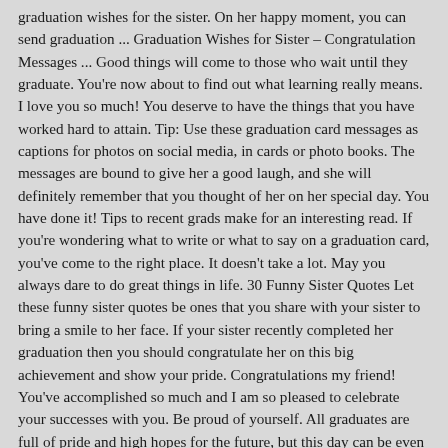graduation wishes for the sister. On her happy moment, you can send graduation ... Graduation Wishes for Sister – Congratulation Messages ... Good things will come to those who wait until they graduate. You're now about to find out what learning really means. I love you so much! You deserve to have the things that you have worked hard to attain. Tip: Use these graduation card messages as captions for photos on social media, in cards or photo books. The messages are bound to give her a good laugh, and she will definitely remember that you thought of her on her special day. You have done it! Tips to recent grads make for an interesting read. If you're wondering what to write or what to say on a graduation card, you've come to the right place. It doesn't take a lot. May you always dare to do great things in life. 30 Funny Sister Quotes Let these funny sister quotes be ones that you share with your sister to bring a smile to her face. If your sister recently completed her graduation then you should congratulate her on this big achievement and show your pride. Congratulations my friend! You've accomplished so much and I am so pleased to celebrate your successes with you. Be proud of yourself. All graduates are full of pride and high hopes for the future, but this day can be even better if you send them the best warm wishes, so they would know that they're not the only ones who feel pride. There are few times in life when